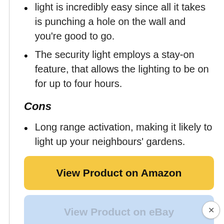light is incredibly easy since all it takes is punching a hole on the wall and you're good to go.
The security light employs a stay-on feature, that allows the lighting to be on for up to four hours.
Cons
Long range activation, making it likely to light up your neighbours' gardens.
View Product on Amazon
View Product on eBay